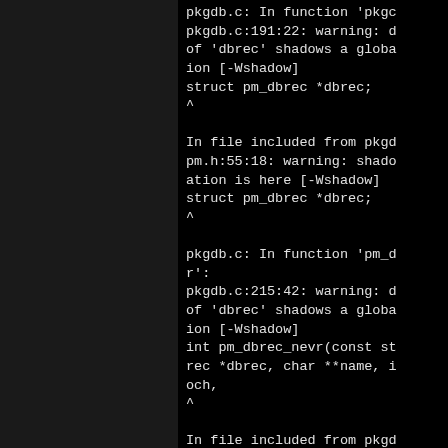pkgdb.c: In function 'pkgc
pkgdb.c:191:22: warning: d
of 'dbrec' shadows a globa
ion [-Wshadow]
struct pm_dbrec *dbrec;
^

In file included from pkgd
pm.h:55:18: warning: shade
ation is here [-Wshadow]
struct pm_dbrec *dbrec;
^

pkgdb.c: In function 'pm_d
r':
pkgdb.c:215:42: warning: d
of 'dbrec' shadows a globa
ion [-Wshadow]
int pm_dbrec_nevr(const st
rec *dbrec, char **name, i
och,
^

In file included from pkgd
pm.h:55:18: warning: shade
ation is here [-Wshadow]
struct pm_dbrec *dbrec;